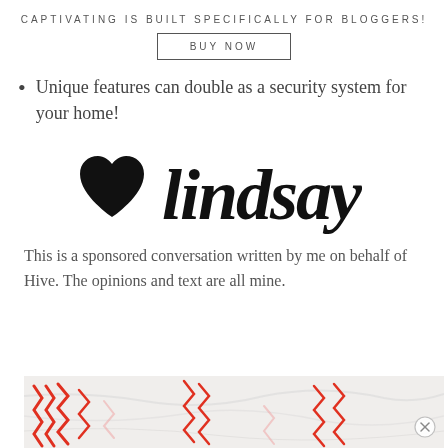CAPTIVATING IS BUILT SPECIFICALLY FOR BLOGGERS!
BUY NOW
Unique features can double as a security system for your home!
[Figure (illustration): A heart symbol followed by a cursive script signature reading 'lindsay']
This is a sponsored conversation written by me on behalf of Hive. The opinions and text are all mine.
[Figure (photo): Partial image of red ribbon/confetti on a marble background with a close (X) button in the bottom right]